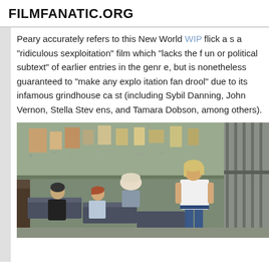FILMFANATIC.ORG
Peary accurately refers to this New World WIP flick as a “ridiculous sexploitation” film which “lacks the fun or political subtext” of earlier entries in the genre, but is nonetheless guaranteed to “make any exploitation fan drool” due to its infamous grindhouse cast (including Sybil Danning, John Vernon, Stella Stevens, and Tamara Dobson, among others).
[Figure (photo): A still from a women-in-prison film showing several women in a cell/dormitory area with cots and graffiti on the walls, and one woman in a white tank top and blue jeans standing near prison bars on the right.]